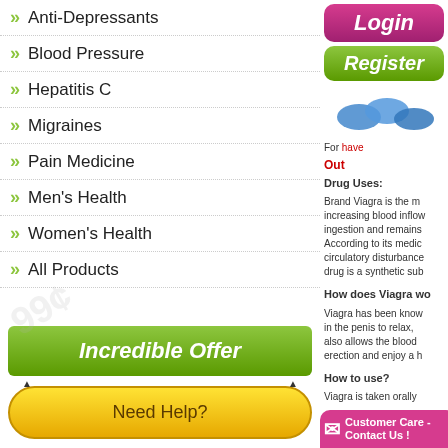Anti-Depressants
Blood Pressure
Hepatitis C
Migraines
Pain Medicine
Men's Health
Women's Health
All Products
[Figure (infographic): Green banner with text Incredible Offer]
[Figure (infographic): Yellow pill-shaped button with text Need Help?]
[Figure (infographic): Yellow pill-shaped button with text Login/Register]
Email
[Figure (infographic): Login button in pink/magenta and Register button in green]
[Figure (photo): Blue pills image]
For have
Out
Drug Uses:
Brand Viagra is the m increasing blood inflow ingestion and remains According to its medic circulatory disturbance drug is a synthetic sub
How does Viagra wo
Viagra has been know in the penis to relax, also allows the blood erection and enjoy a h
How to use?
Viagra is taken orally
[Figure (infographic): Customer Care - Contact Us! banner in pink with envelope icon]